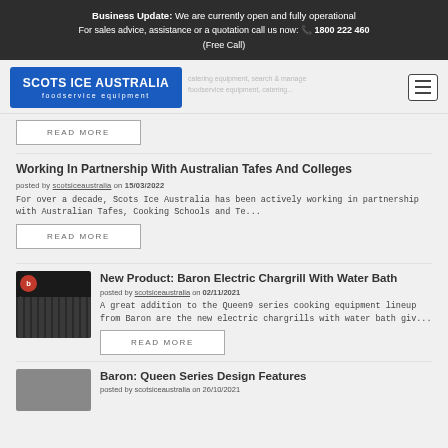Business Update: We are currently open and fully operational
For sales advice, assistance or a quotation call us now: 1800 222 460 (Free Call)
[Figure (logo): Scots Ice Australia foodservice equipment logo, blue rectangle]
READ MORE
Working In Partnership With Australian Tafes And Colleges
posted by scotsiceaustralia on 15/03/2022
For over a decade, Scots Ice Australia has been actively working in partnership with Australian Tafes, Cooking Schools and Te...
READ MORE
New Product: Baron Electric Chargrill With Water Bath
posted by scotsiceaustralia on 02/11/2021
A great addition to the Queen9 series cooking equipment lineup from Baron are the new electric chargrills with water bath giv...
READ MORE
Baron: Queen Series Design Features
posted by scotsiceaustralia on 26/10/2021